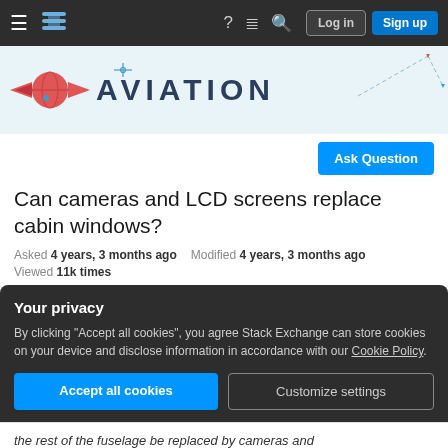Navigation bar with hamburger menu, Stack Exchange logo, help, chat, search icons, Log in and Sign up buttons
[Figure (logo): Aviation Stack Exchange banner with red globe/wings logo and AVIATION text on light blue background with decorative geometric lines]
Ask Question
Can cameras and LCD screens replace cabin windows?
Asked 4 years, 3 months ago   Modified 4 years, 3 months ago
Viewed 11k times
Your privacy
By clicking "Accept all cookies", you agree Stack Exchange can store cookies on your device and disclose information in accordance with our Cookie Policy.
Accept all cookies   Customize settings
the rest of the fuselage be replaced by cameras and